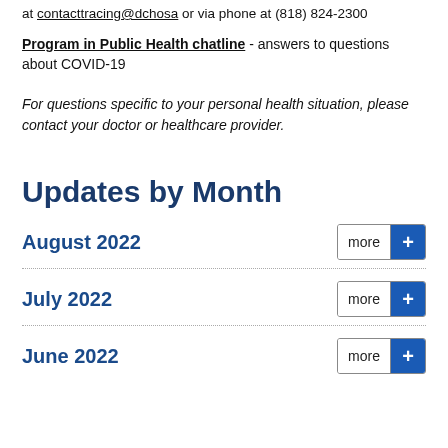at contacttracing@dchosa or via phone at (818) 824-2300
Program in Public Health chatline - answers to questions about COVID-19
For questions specific to your personal health situation, please contact your doctor or healthcare provider.
Updates by Month
August 2022
July 2022
June 2022